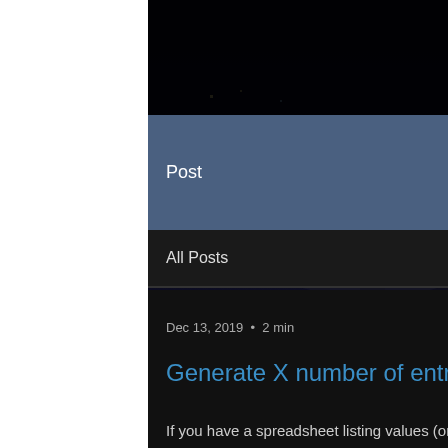Post
All Posts
Dec 13, 2019  •  2 min
Generate X number of entries for values listed with a total count
If you have a spreadsheet listing values (one of each kind) in one column, and a count ('X') for those values in an adjacent column, you can